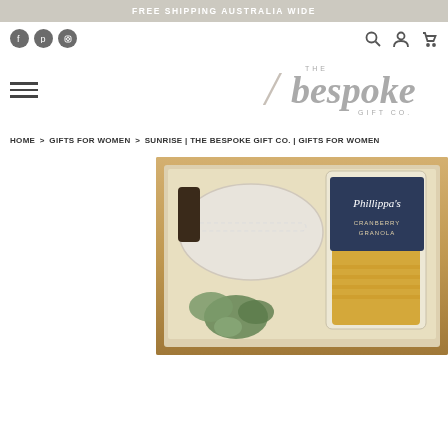FREE SHIPPING AUSTRALIA WIDE
[Figure (screenshot): Social media icons: Facebook, Pinterest, Instagram]
[Figure (logo): THE bespoke GIFT CO. logo]
HOME > GIFTS FOR WOMEN > SUNRISE | THE BESPOKE GIFT CO. | GIFTS FOR WOMEN
[Figure (photo): A gift box containing an eye mask, a bag of Phillippa's Cranberry Granola, and eucalyptus greenery arranged in a wooden crate]